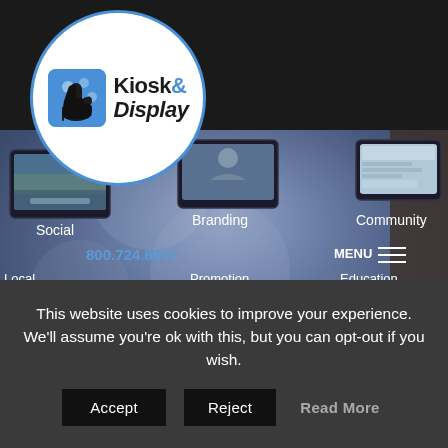[Figure (screenshot): Kiosk & Display website header screenshot showing logo with blue icon on white circle against dark header, hero image with multiple tablet screens displaying Social, Branding, Community, Local, Promotion, Education labels, phone number 800.724.8947, and MENU navigation button]
This website uses cookies to improve your experience. We'll assume you're ok with this, but you can opt-out if you wish.
Accept  Reject  Read More